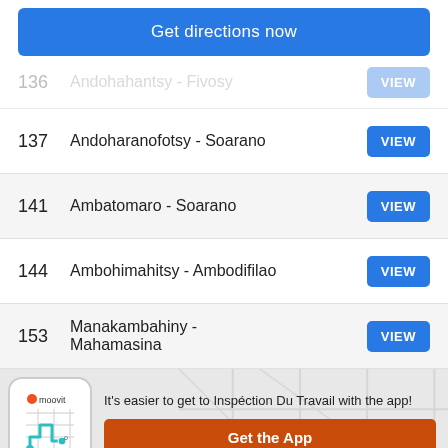Get directions now
136   Andohahantsy - Fivosy   VIEW
137   Andoharanofotsy - Soarano   VIEW
141   Ambatomaro - Soarano   VIEW
144   Ambohimahitsy - Ambodifilao   VIEW
153   Manakambahiny - Mahamasina   VIEW
It's easier to get to Inspection Du Travail with the app!
Get the App